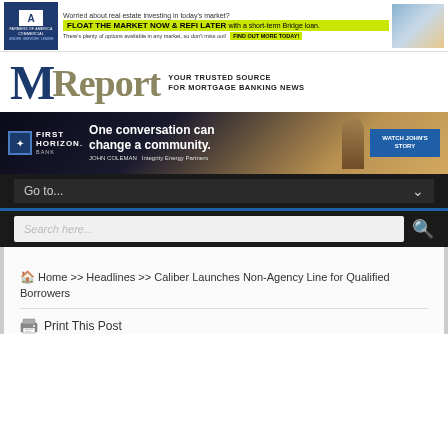[Figure (infographic): Farmers of America Commercial banner ad: 'Worried about real estate investing in today's market? FLOAT THE MARKET NOW & REFI LATER with a short-term Bridge loan. There's plenty of options available in any market, so don't miss out! FIND OUT MORE TODAY!']
[Figure (logo): MReport logo — M in dark blue, Report in tan/gold — with tagline YOUR TRUSTED SOURCE FOR MORTGAGE BANKING NEWS]
[Figure (infographic): First Horizon Bank advertisement: 'One conversation can change a community. JOHN COLEMAN – Integrity Energy Partners' with WATCH JOHN'S STORY button]
[Figure (screenshot): Navigation bar with 'Go to...' dropdown and chevron arrow]
[Figure (screenshot): Search bar with placeholder text 'Search here...' and magnifying glass icon]
Home >> Headlines >> Caliber Launches Non-Agency Line for Qualified Borrowers
Print This Post